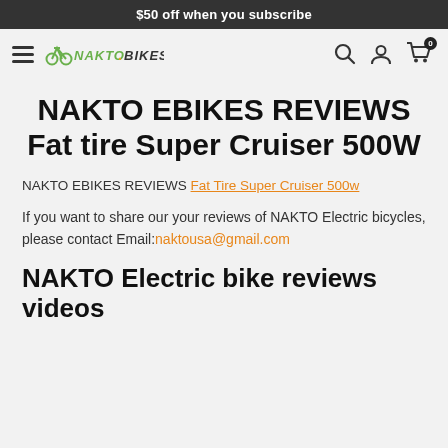$50 off when you subscribe
[Figure (logo): NAKTO BIKES logo with hamburger menu, search, account, and cart icons in navigation bar]
NAKTO EBIKES REVIEWS Fat tire Super Cruiser 500W
NAKTO EBIKES REVIEWS Fat Tire Super Cruiser 500w
If you want to share our your reviews of NAKTO Electric bicycles, please contact Email:naktousa@gmail.com
NAKTO Electric bike reviews videos